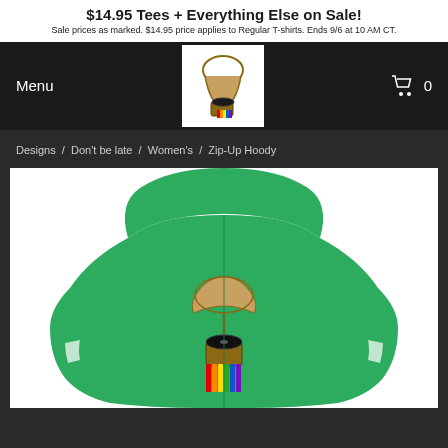$14.95 Tees + Everything Else on Sale! Sale prices as marked. $14.95 price applies to Regular T-shirts. Ends 9/6 at 10 AM CT.
[Figure (logo): Gramophone with rainbow drip logo on black nav bar, with Menu text left and cart icon with 0 right]
Designs / Don't be late / Women's / Zip-Up Hoody
[Figure (photo): Green zip-up hoody shown from the back with a gramophone emitting rainbow colors printed on the back, on a white background]